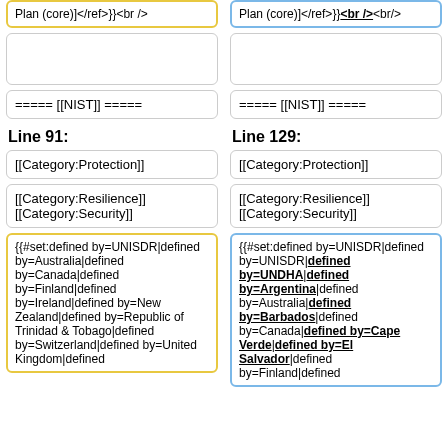Plan (core)]</ref>}}<br />
Plan (core)]</ref>}}<br /><br/>
===== [[NIST]] =====
===== [[NIST]] =====
Line 91:
Line 129:
[[Category:Protection]]
[[Category:Protection]]
[[Category:Resilience]]
[[Category:Security]]
[[Category:Resilience]]
[[Category:Security]]
{{#set:defined by=UNISDR|defined by=Australia|defined by=Canada|defined by=Finland|defined by=Ireland|defined by=New Zealand|defined by=Republic of Trinidad & Tobago|defined by=Switzerland|defined by=United Kingdom|defined
{{#set:defined by=UNISDR|defined by=UNDHA|defined by=Argentina|defined by=Australia|defined by=Barbados|defined by=Canada|defined by=Cape Verde|defined by=El Salvador|defined by=Finland|defined